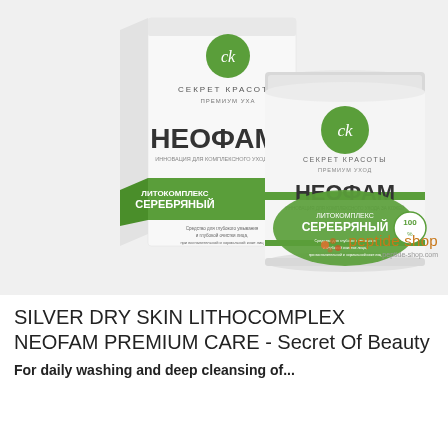[Figure (photo): Product photo showing НЕОФАМ (NEOFAM) Литокомплекс Серебряный (Silver Lithocomplex) skincare product — a white cylindrical jar with green label and a matching white product box, both branded with 'Секрет Красоты Premium уход' (Secret of Beauty Premium Care) logo. Background is light gray.]
[Figure (logo): Peptide Shop logo — colored dots icon followed by 'peptide shop' text in brown/orange color, with 'peptide-shop.com' URL below in small gray text.]
SILVER DRY SKIN LITHOCOMPLEX NEOFAM PREMIUM CARE - Secret Of Beauty
For daily washing and deep cleansing of...